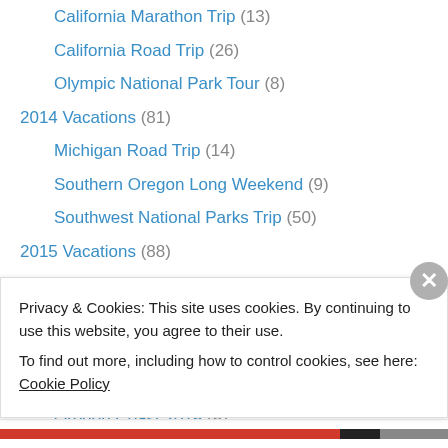California Marathon Trip (13)
California Road Trip (26)
Olympic National Park Tour (8)
2014 Vacations (81)
Michigan Road Trip (14)
Southern Oregon Long Weekend (9)
Southwest National Parks Trip (50)
2015 Vacations (88)
Colorado 2015 (22)
Joshua Tree 2015 (5)
Moab 2015 (14)
Mount Rainier 2015 (6)
Oregon Coast 2015 (5)
Privacy & Cookies: This site uses cookies. By continuing to use this website, you agree to their use. To find out more, including how to control cookies, see here: Cookie Policy
Close and accept